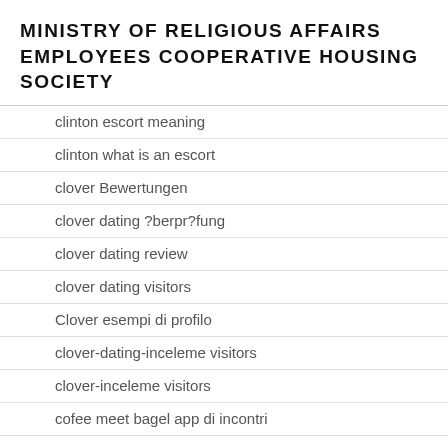MINISTRY OF RELIGIOUS AFFAIRS EMPLOYEES COOPERATIVE HOUSING SOCIETY
clinton escort meaning
clinton what is an escort
clover Bewertungen
clover dating ?berpr?fung
clover dating review
clover dating visitors
Clover esempi di profilo
clover-dating-inceleme visitors
clover-inceleme visitors
cofee meet bagel app di incontri